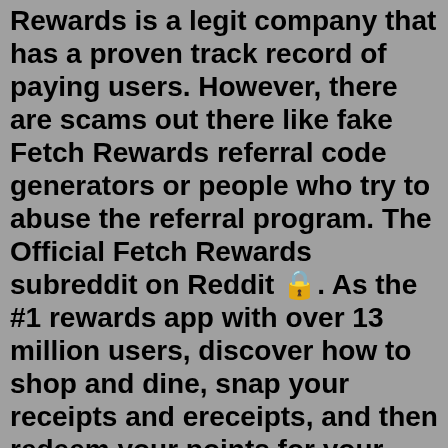Rewards is a legit company that has a proven track record of paying users. However, there are scams out there like fake Fetch Rewards referral code generators or people who try to abuse the referral program. The Official Fetch Rewards subreddit on Reddit 🔒. As the #1 rewards app with over 13 million users, discover how to shop and dine, snap your receipts and ereceipts, and then redeem your points for your favorite shopping and restaurant gift cards. Have fun, save money, with Fetch Rewards. This basic online receipt maker allows you to easily create free custom receipts for your customers without the expense or difficult learning curve associated with most cash receipt software. Simple tips are provided. Select payment method, enter your company name, your store address, your store return policy, 2 different sales tax names and ...You can use this promo code to receive upwards of 4,000 points as a new user of the Fetch app. Fetch rewards is a free money savings app that rewards you in gift cards for uploading your … 1. First open the app, go to the